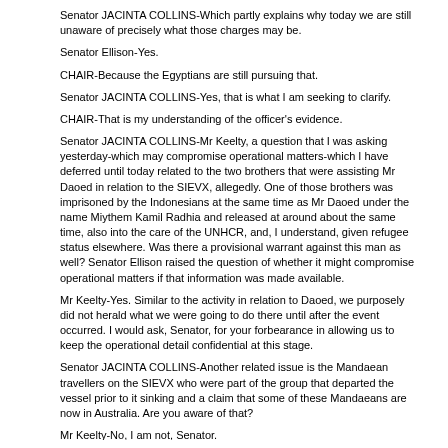Senator JACINTA COLLINS-Which partly explains why today we are still unaware of precisely what those charges may be.
Senator Ellison-Yes.
CHAIR-Because the Egyptians are still pursuing that.
Senator JACINTA COLLINS-Yes, that is what I am seeking to clarify.
CHAIR-That is my understanding of the officer's evidence.
Senator JACINTA COLLINS-Mr Keelty, a question that I was asking yesterday-which may compromise operational matters-which I have deferred until today related to the two brothers that were assisting Mr Daoed in relation to the SIEVX, allegedly. One of those brothers was imprisoned by the Indonesians at the same time as Mr Daoed under the name Miythem Kamil Radhia and released at around about the same time, also into the care of the UNHCR, and, I understand, given refugee status elsewhere. Was there a provisional warrant against this man as well? Senator Ellison raised the question of whether it might compromise operational matters if that information was made available.
Mr Keelty-Yes. Similar to the activity in relation to Daoed, we purposely did not herald what we were going to do there until after the event occurred. I would ask, Senator, for your forbearance in allowing us to keep the operational detail confidential at this stage.
Senator JACINTA COLLINS-Another related issue is the Mandaean travellers on the SIEVX who were part of the group that departed the vessel prior to it sinking and a claim that some of these Mandaeans are now in Australia. Are you aware of that?
Mr Keelty-No, I am not, Senator.
Senator JACINTA COLLINS-That is fine, I will take it up with Immigration. Do you know when the AFP may have been involved in interviews of the Indonesian fishermen that rescued the SIEVX survivors?